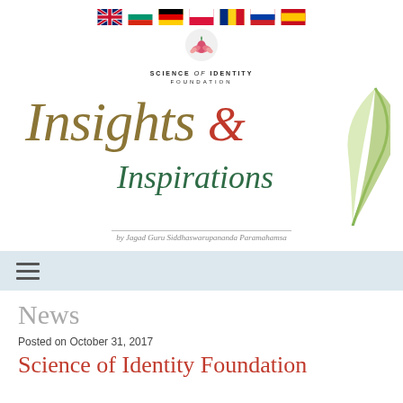[Figure (illustration): Row of 7 national flags: UK, Bulgaria, Germany, Poland, Romania, Russia, Spain]
[Figure (logo): Science of Identity Foundation logo with lotus flower icon and text]
[Figure (illustration): Insights & Inspirations banner with stylized italic text and leaf illustration, subtitle: by Jagad Guru Siddhaswarupananda Paramahamsa]
News
Posted on October 31, 2017
Science of Identity Foundation